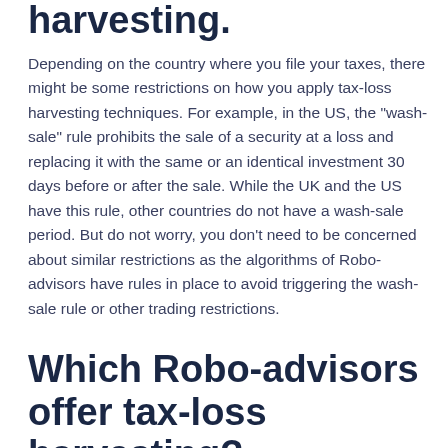harvesting.
Depending on the country where you file your taxes, there might be some restrictions on how you apply tax-loss harvesting techniques. For example, in the US, the "wash-sale" rule prohibits the sale of a security at a loss and replacing it with the same or an identical investment 30 days before or after the sale. While the UK and the US have this rule, other countries do not have a wash-sale period. But do not worry, you don't need to be concerned about similar restrictions as the algorithms of Robo-advisors have rules in place to avoid triggering the wash-sale rule or other trading restrictions.
Which Robo-advisors offer tax-loss harvesting?